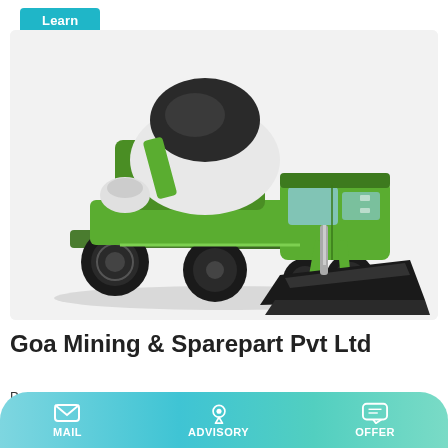Learn More
[Figure (photo): Green self-loading concrete mixer truck with black mixing drum, operator cab, and front-mounted loading bucket, photographed on white/light grey background.]
Goa Mining & Sparepart Pvt Ltd
Putzmeister Truck Concrete BSF M42-5; Putzmeister Truck
MAIL   ADVISORY   OFFER